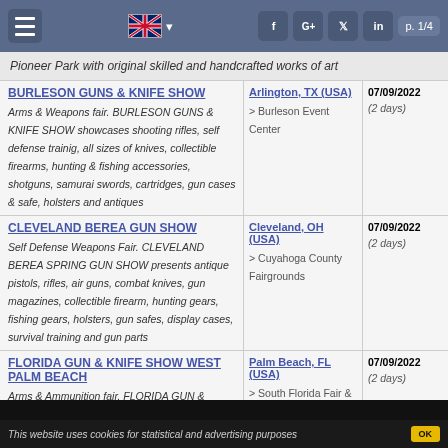p. 1/4
Pioneer Park with original skilled and handcrafted works of art
BURLESON GUNS & KNIFE SHOW - Arlington, TX (USA) - 07/09/2022 (2 days) - Burleson Event Center. Arms & Weapons fair. BURLESON GUNS & KNIFE SHOW showcases shooting rifles, self defense trainig, all sizes of knives, collectible firearms, hunting & fishing accessories, shotguns, samurai swords, cartridges, gun cases & safe, holsters and antiques
CLEVELAND BEREA GUN SHOW - Cleveland, OH (USA) - 07/09/2022 (2 days) - Cuyahoga County Fairgrounds. Self Defense Weapons Fair. CLEVELAND BEREA SPRING GUN SHOW presents antique pistols, rifles, air guns, combat knives, gun magazines, collectible firearm, hunting gears, fishing gears, holsters, gun safes, display cases, survival training and gun parts
FLORIDA GUN & KNIFE SHOW WEST PALM BEACH - Palm Beach, FL (USA) - 07/09/2022 (2 days) - South Florida Fair & Expo Center. Arms & Ammunition fair. FLORIDA GUN & KNIFE SHOW IN WEST PALM BEACH presents all types of firearms, combat knives & swords, fishing gears, antique pistols, cartridges, hunting accessories, gun cases & safes, self protection weapons and permit course
G & S ARKANSAS GUNS & KNIFE SHOW - MOUNTAIN HOME - Mountain Home, AR (USA) - 07/09/2022 (2 days) - Baxter County Fairgrounds. Arms and Ammunition Fair. G & S ARKANSAS GUNS & KNIFE SHOW features rifles, handguns,
This website uses cookies for statistical and advertising purposes